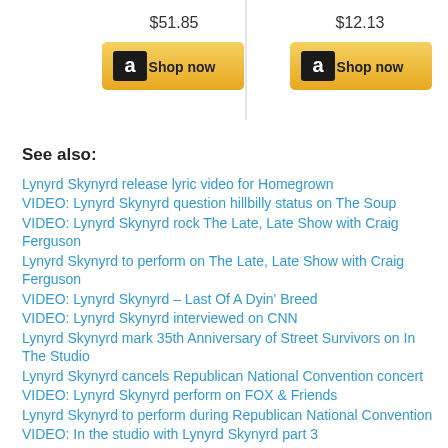[Figure (other): Amazon shop buttons with prices $51.85 and $12.13]
See also:
Lynyrd Skynyrd release lyric video for Homegrown
VIDEO: Lynyrd Skynyrd question hillbilly status on The Soup
VIDEO: Lynyrd Skynyrd rock The Late, Late Show with Craig Ferguson
Lynyrd Skynyrd to perform on The Late, Late Show with Craig Ferguson
VIDEO: Lynyrd Skynyrd – Last Of A Dyin' Breed
VIDEO: Lynyrd Skynyrd interviewed on CNN
Lynyrd Skynyrd mark 35th Anniversary of Street Survivors on In The Studio
Lynyrd Skynyrd cancels Republican National Convention concert
VIDEO: Lynyrd Skynyrd perform on FOX & Friends
Lynyrd Skynyrd to perform during Republican National Convention
VIDEO: In the studio with Lynyrd Skynyrd part 3